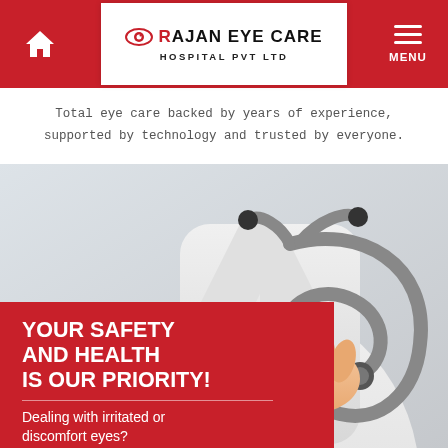Rajan Eye Care Hospital Pvt Ltd
Total eye care backed by years of experience, supported by technology and trusted by everyone.
[Figure (photo): Doctor in white coat holding a stethoscope, close-up of hands and stethoscope against a light background.]
YOUR SAFETY AND HEALTH IS OUR PRIORITY!
Dealing with irritated or discomfort eyes?
Talk to our Eye Specialists